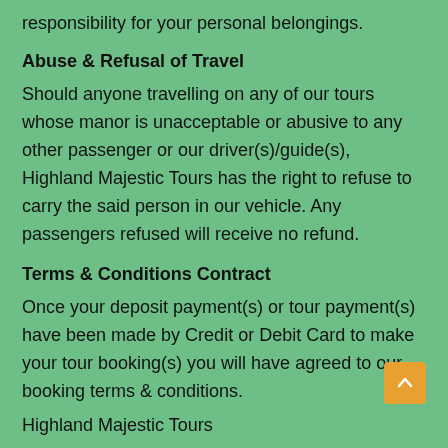responsibility for your personal belongings.
Abuse & Refusal of Travel
Should anyone travelling on any of our tours whose manor is unacceptable or abusive to any other passenger or our driver(s)/guide(s), Highland Majestic Tours has the right to refuse to carry the said person in our vehicle. Any passengers refused will receive no refund.
Terms & Conditions Contract
Once your deposit payment(s) or tour payment(s) have been made by Credit or Debit Card to make your tour booking(s) you will have agreed to our booking terms & conditions.
Highland Majestic Tours